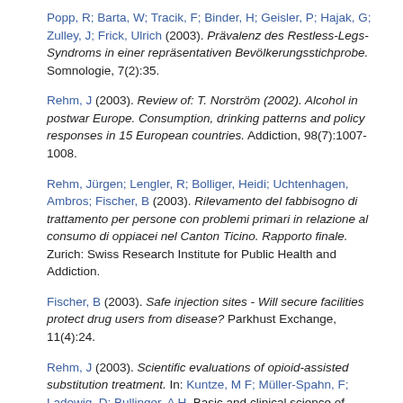Popp, R; Barta, W; Tracik, F; Binder, H; Geisler, P; Hajak, G; Zulley, J; Frick, Ulrich (2003). Prävalenz des Restless-Legs-Syndroms in einer repräsentativen Bevölkerungsstichprobe. Somnologie, 7(2):35.
Rehm, J (2003). Review of: T. Norström (2002). Alcohol in postwar Europe. Consumption, drinking patterns and policy responses in 15 European countries. Addiction, 98(7):1007-1008.
Rehm, Jürgen; Lengler, R; Bolliger, Heidi; Uchtenhagen, Ambros; Fischer, B (2003). Rilevamento del fabbisogno di trattamento per persone con problemi primari in relazione al consumo di oppiacei nel Canton Ticino. Rapporto finale. Zurich: Swiss Research Institute for Public Health and Addiction.
Fischer, B (2003). Safe injection sites - Will secure facilities protect drug users from disease? Parkhust Exchange, 11(4):24.
Rehm, J (2003). Scientific evaluations of opioid-assisted substitution treatment. In: Kuntze, M F; Müller-Spahn, F; Ladewig, D; Bullinger, A H. Basic and clinical science of opioid addiction. Bibliotheca Psychiatrica. Basel: Karger, 33-38.
Fischer, B; Haydon, E; Kim, G; Rehm, J; El-Guebaly, N (2003). Screening for antisocial personality disorder in drug users — A